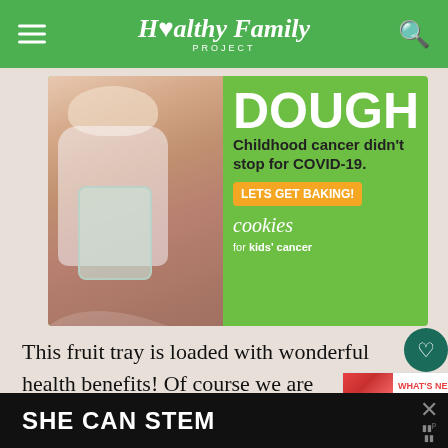Healthy Family PROJECT
[Figure (photo): Advertisement for Cookies for Kids' Cancer: girl holding jar of money, green background, text DOUGH, Childhood cancer didn't stop for COVID-19. LETS GET BAKING! cookies for kids' cancer]
This fruit tray is loaded with wonderful health benefits! Of course we are powering up with some Vitamin C, fiber, anti-oxidants, potassium, and much more! For more health
[Figure (photo): What's Next promo box: Strawberry Watermelon...]
[Figure (other): Bottom advertisement banner: SHE CAN STEM on dark background]